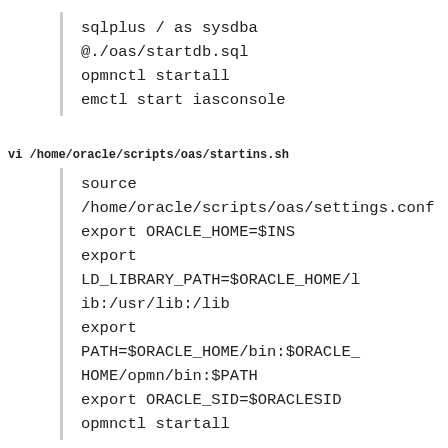sqlplus / as sysdba @./oas/startdb.sql
opmnctl startall
emctl start iasconsole
vi /home/oracle/scripts/oas/startins.sh
source /home/oracle/scripts/oas/settings.conf
export ORACLE_HOME=$INS
export LD_LIBRARY_PATH=$ORACLE_HOME/lib:/usr/lib:/lib
export PATH=$ORACLE_HOME/bin:$ORACLE_HOME/opmn/bin:$PATH
export ORACLE_SID=$ORACLESID
opmnctl startall